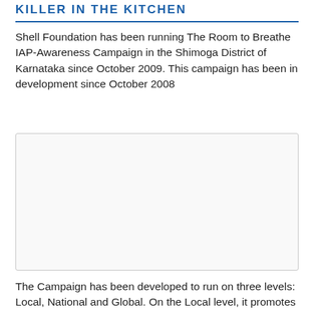KILLER IN THE KITCHEN
Shell Foundation has been running The Room to Breathe IAP-Awareness Campaign in the Shimoga District of Karnataka since October 2009. This campaign has been in development since October 2008
[Figure (photo): Empty image box placeholder]
The Campaign has been developed to run on three levels: Local, National and Global. On the Local level, it promotes Improved Cook Stoves (ICS) to IAP-affected